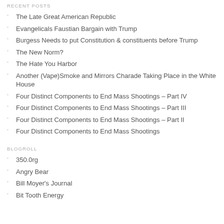RECENT POSTS
The Late Great American Republic
Evangelicals Faustian Bargain with Trump
Burgess Needs to put Constitution & constituents before Trump
The New Norm?
The Hate You Harbor
Another (Vape)Smoke and Mirrors Charade Taking Place in the White House
Four Distinct Components to End Mass Shootings – Part IV
Four Distinct Components to End Mass Shootings – Part III
Four Distinct Components to End Mass Shootings – Part II
Four Distinct Components to End Mass Shootings
BLOGROLL
350.0rg
Angry Bear
Bill Moyer's Journal
Bit Tooth Energy